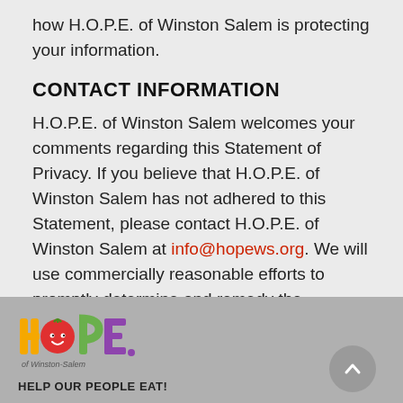how H.O.P.E. of Winston Salem is protecting your information.
CONTACT INFORMATION
H.O.P.E. of Winston Salem welcomes your comments regarding this Statement of Privacy. If you believe that H.O.P.E. of Winston Salem has not adhered to this Statement, please contact H.O.P.E. of Winston Salem at info@hopews.org. We will use commercially reasonable efforts to promptly determine and remedy the problem.
[Figure (logo): H.O.P.E. of Winston Salem logo with colorful letters and tagline HELP OUR PEOPLE EAT!]
Copyright 2022 by H.O.P.E. of Winston Salem